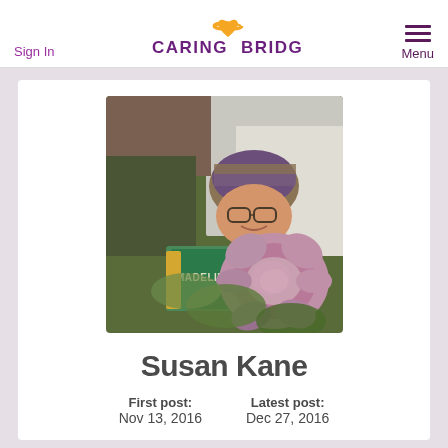Sign In   CARING BRIDGE.   Menu
[Figure (photo): Photo of Susan Kane lying in a hospital bed wearing a purple knit hat, holding the children's book Madeline, with a decorative purple flower arrangement in the foreground]
Susan Kane
First post: Nov 13, 2016   Latest post: Dec 27, 2016